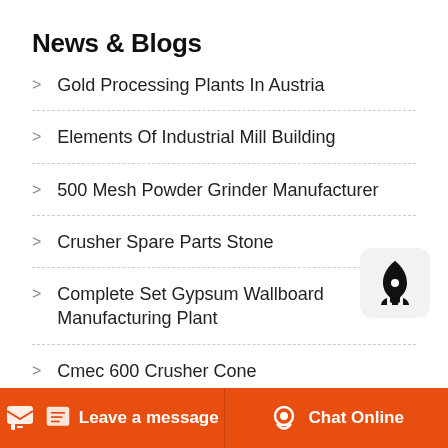News & Blogs
Gold Processing Plants In Austria
Elements Of Industrial Mill Building
500 Mesh Powder Grinder Manufacturer
Crusher Spare Parts Stone
Complete Set Gypsum Wallboard Manufacturing Plant
Cmec 600 Crusher Cone
Leave a message   Chat Online